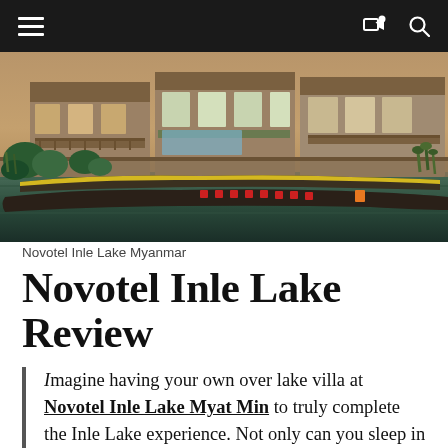Navigation bar with hamburger menu, share icon, and search icon
[Figure (photo): Wooden over-water villas/bungalows on stilts at Inle Lake, Myanmar, with long traditional boats moored in front on the water, surrounded by tropical vegetation]
Novotel Inle Lake Myanmar
Novotel Inle Lake Review
Imagine having your own over lake villa at Novotel Inle Lake Myat Min to truly complete the Inle Lake experience. Not only can you sleep in a villa raised over the water on stilts, you can also arrive and get around by boat; just as the locals do.